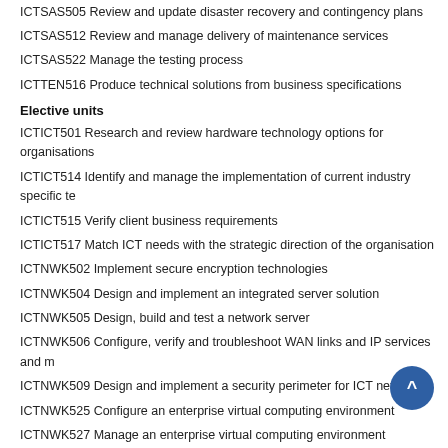ICTSAS505 Review and update disaster recovery and contingency plans
ICTSAS512 Review and manage delivery of maintenance services
ICTSAS522 Manage the testing process
ICTTEN516 Produce technical solutions from business specifications
Elective units
ICTICT501 Research and review hardware technology options for organisations
ICTICT514 Identify and manage the implementation of current industry specific te
ICTICT515 Verify client business requirements
ICTICT517 Match ICT needs with the strategic direction of the organisation
ICTNWK502 Implement secure encryption technologies
ICTNWK504 Design and implement an integrated server solution
ICTNWK505 Design, build and test a network server
ICTNWK506 Configure, verify and troubleshoot WAN links and IP services and m
ICTNWK509 Design and implement a security perimeter for ICT networks
ICTNWK525 Configure an enterprise virtual computing environment
ICTNWK527 Manage an enterprise virtual computing environment
ICTNWK529 Install and manage complex ICT networks